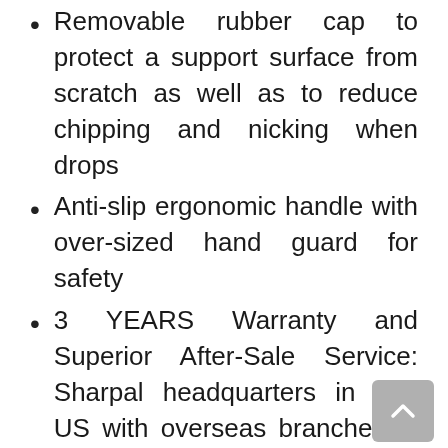Removable rubber cap to protect a support surface from scratch as well as to reduce chipping and nicking when drops
Anti-slip ergonomic handle with over-sized hand guard for safety
3 YEARS Warranty and Superior After-Sale Service: Sharpal headquarters in CA, US with overseas branches in Germany and Australia, aiming at providing consumers with an easy and cost-effective way to obtain a sharp edge. Manufactured and field-tested to the highest standards.
6   Green Elephant Ceramic Sharpening Rod